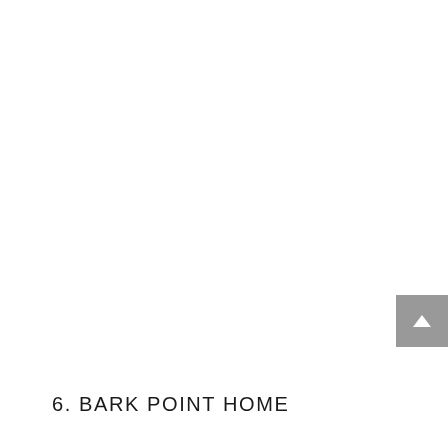[Figure (other): Scroll-to-top button UI element: grey square with white upward-pointing chevron/arrow, positioned at right edge of page]
6. BARK POINT HOME